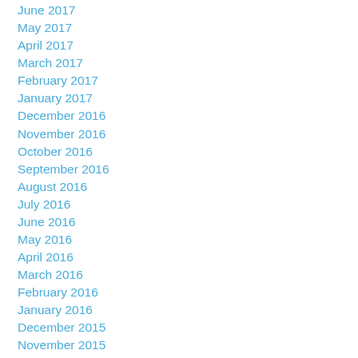June 2017
May 2017
April 2017
March 2017
February 2017
January 2017
December 2016
November 2016
October 2016
September 2016
August 2016
July 2016
June 2016
May 2016
April 2016
March 2016
February 2016
January 2016
December 2015
November 2015
October 2015